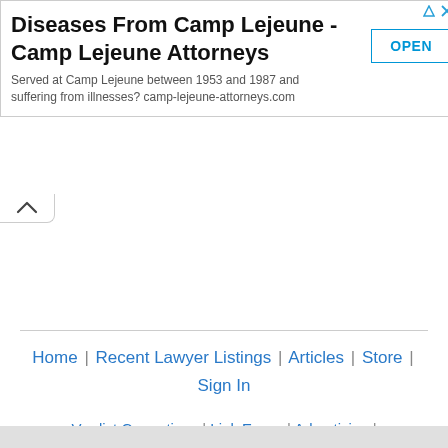[Figure (other): Advertisement banner for Camp Lejeune Attorneys with title 'Diseases From Camp Lejeune - Camp Lejeune Attorneys', subtitle text, and OPEN button]
Home | Recent Lawyer Listings | Articles | Store | Sign In
Verdict Corrections | Link Errors | Advertising | Editor | Privacy Statement
© 1996-2022 MoreLaw, Inc.